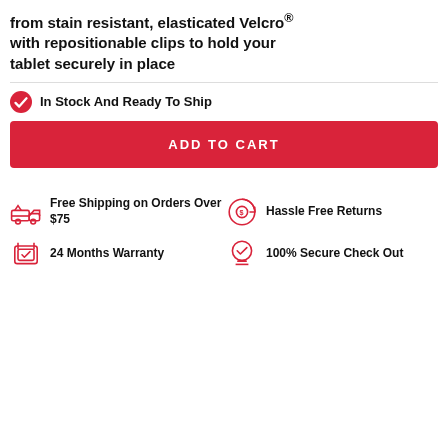from stain resistant, elasticated Velcro® with repositionable clips to hold your tablet securely in place
In Stock And Ready To Ship
ADD TO CART
Free Shipping on Orders Over $75
Hassle Free Returns
24 Months Warranty
100% Secure Check Out